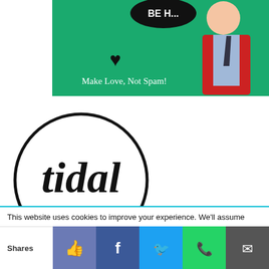[Figure (photo): Advertisement image on green background showing a young man in red cardigan and blue shirt with tie, a speech bubble partially visible at top saying 'BE H...', a heart icon, and text 'Make Love, Not Spam!']
[Figure (logo): Tidal Contributor badge: circular black-bordered logo with 'tidal' in large bold italic serif font and 'Contributor' in italic below]
This website uses cookies to improve your experience. We'll assume
Shares